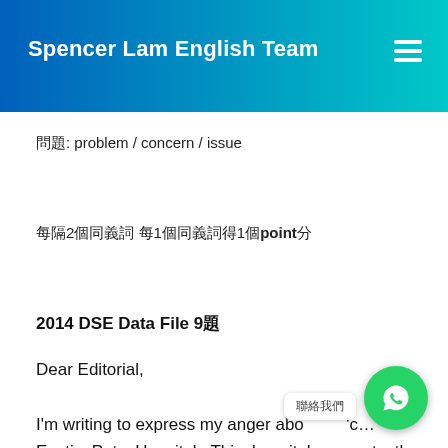Spencer Lam English Team
問題: problem / concern / issue
每隔2個同義詞 每1個同義詞得1個point分
2014 DSE Data File 9題
Dear Editorial,
I'm writing to express my anger abo... 'c... Exotic  Pets  Hospital.  This  hospital  supports  the